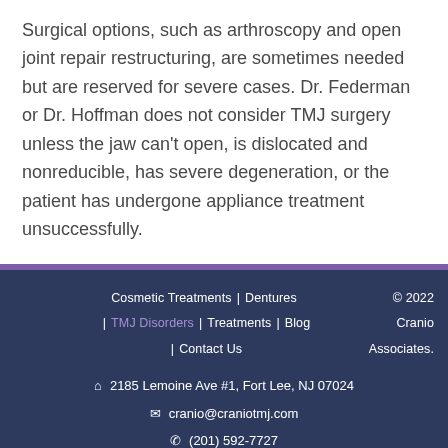Surgical options, such as arthroscopy and open joint repair restructuring, are sometimes needed but are reserved for severe cases. Dr. Federman or Dr. Hoffman does not consider TMJ surgery unless the jaw can't open, is dislocated and nonreducible, has severe degeneration, or the patient has undergone appliance treatment unsuccessfully.
Cosmetic Treatments | Dentures | TMJ Disorders | Treatments | Blog | Contact Us  © 2022 Cranio Associates.  2185 Lemoine Ave #1, Fort Lee, NJ 07024  cranio@craniotmj.com  (201) 592-7727